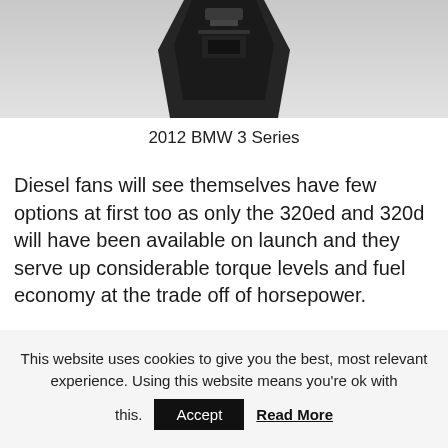[Figure (photo): Partial photo of a 2012 BMW 3 Series showing a mechanical/engine component against a light grey background]
2012 BMW 3 Series
Diesel fans will see themselves have few options at first too as only the 320ed and 320d will have been available on launch and they serve up considerable torque levels and fuel economy at the trade off of horsepower.
If oil burning is your choice, you can only have 165 or 185 horsepower but you can still look forward to a different world. that of the hybrid.
This website uses cookies to give you the best, most relevant experience. Using this website means you're ok with this. Accept Read More